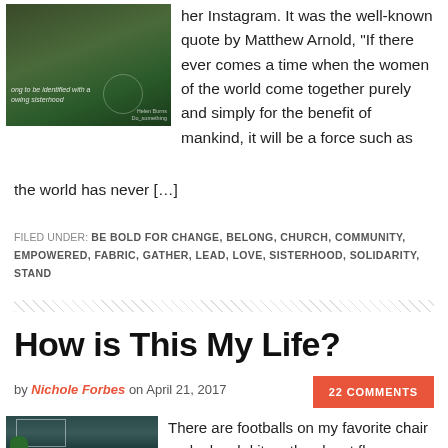[Figure (photo): A photo with a wooden bridge/pathway through green foliage, with a quote overlay text about sisterhood and a Helen Burns credit.]
her Instagram. It was the well-known quote by Matthew Arnold, “If there ever comes a time when the women of the world come together purely and simply for the benefit of mankind, it will be a force such as the world has never […]
FILED UNDER: BE BOLD FOR CHANGE, BELONG, CHURCH, COMMUNITY, EMPOWERED, FABRIC, GATHER, LEAD, LOVE, SISTERHOOD, SOLIDARITY, STAND
How is This My Life?
by Nichole Forbes on April 21, 2017
22 COMMENTS
[Figure (photo): A photo of a room interior with teal/dark walls, a framed picture, and a small plant.]
There are footballs on my favorite chair and a lunch kit on the closet floor. There are dishes and a drift [...]